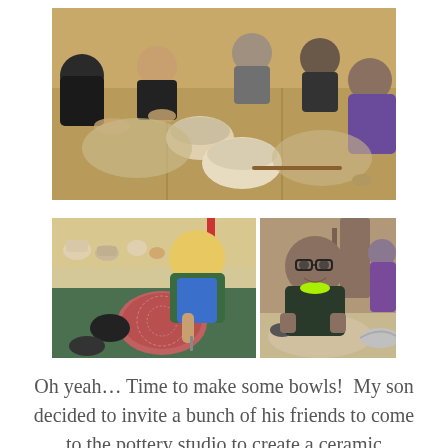[Figure (photo): Children sitting around a large table doing pottery, working with clay and bowls, in a pottery studio.]
[Figure (photo): A child with blonde hair working on a decorative clay piece on a green surface with various clay items on the table.]
[Figure (photo): A boy with glasses smiling at the camera while working with clay at a table, another child in purple visible behind him.]
Oh yeah… Time to make some bowls!  My son decided to invite a bunch of his friends to come to the pottery studio to create a ceramic